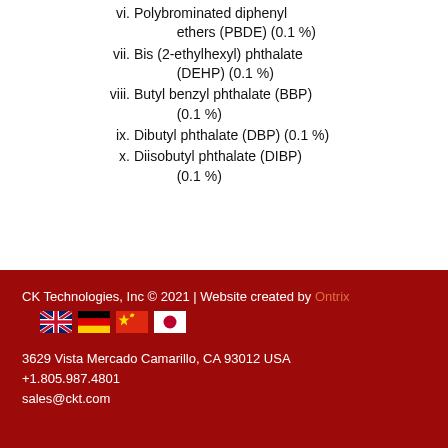vi. Polybrominated diphenyl ethers (PBDE) (0.1 %)
vii. Bis (2-ethylhexyl) phthalate (DEHP) (0.1 %)
viii. Butyl benzyl phthalate (BBP) (0.1 %)
ix. Dibutyl phthalate (DBP) (0.1 %)
x. Diisobutyl phthalate (DIBP) (0.1 %)
CK Technologies, Inc © 2021 | Website created by Ontrix
3629 Vista Mercado Camarillo, CA 93012 USA
+1.805.987.4801
sales@ckt.com